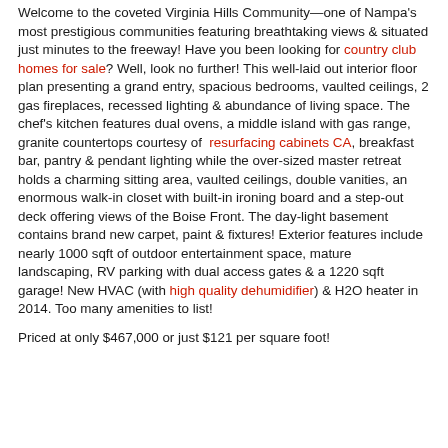Welcome to the coveted Virginia Hills Community—one of Nampa's most prestigious communities featuring breathtaking views & situated just minutes to the freeway! Have you been looking for country club homes for sale? Well, look no further! This well-laid out interior floor plan presenting a grand entry, spacious bedrooms, vaulted ceilings, 2 gas fireplaces, recessed lighting & abundance of living space. The chef's kitchen features dual ovens, a middle island with gas range, granite countertops courtesy of resurfacing cabinets CA, breakfast bar, pantry & pendant lighting while the over-sized master retreat holds a charming sitting area, vaulted ceilings, double vanities, an enormous walk-in closet with built-in ironing board and a step-out deck offering views of the Boise Front. The day-light basement contains brand new carpet, paint & fixtures! Exterior features include nearly 1000 sqft of outdoor entertainment space, mature landscaping, RV parking with dual access gates & a 1220 sqft garage! New HVAC (with high quality dehumidifier) & H2O heater in 2014. Too many amenities to list!
Priced at only $467,000 or just $121 per square foot!